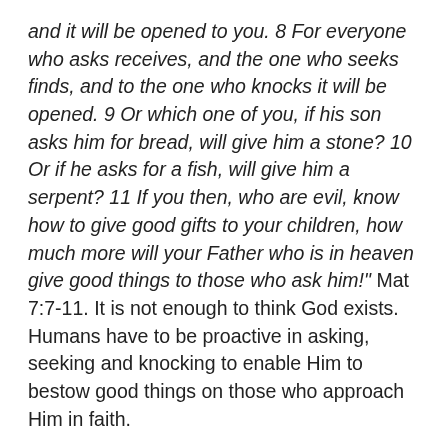and it will be opened to you. 8 For everyone who asks receives, and the one who seeks finds, and to the one who knocks it will be opened. 9 Or which one of you, if his son asks him for bread, will give him a stone? 10 Or if he asks for a fish, will give him a serpent? 11 If you then, who are evil, know how to give good gifts to your children, how much more will your Father who is in heaven give good things to those who ask him!" Mat 7:7-11. It is not enough to think God exists. Humans have to be proactive in asking, seeking and knocking to enable Him to bestow good things on those who approach Him in faith.
In some previous articles I looked at Psalm 139 which contains some of the most profound concepts of the characteristics of God one can find anywhere. In brief David describes God as the Searching God who knows everything about us and the attention that statement deserves.